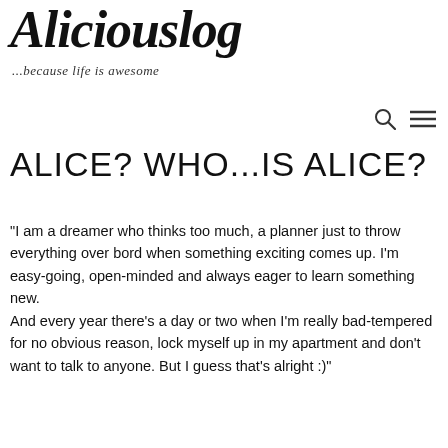Aliciouslog
...because life is awesome
ALICE? WHO...IS ALICE?
“I am a dreamer who thinks too much, a planner just to throw everything over bord when something exciting comes up. I’m easy-going, open-minded and always eager to learn something new.
And every year there’s a day or two when I’m really bad-tempered for no obvious reason, lock myself up in my apartment and don’t want to talk to anyone. But I guess that’s alright :)"